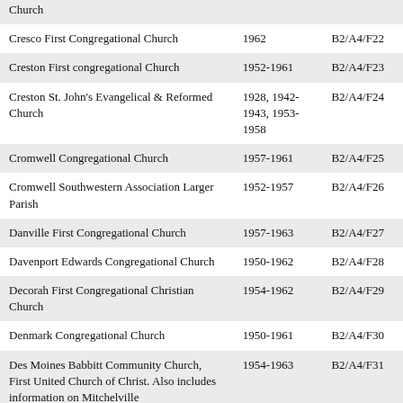| Church |  |  |
| Cresco First Congregational Church | 1962 | B2/A4/F22 |
| Creston First congregational Church | 1952-1961 | B2/A4/F23 |
| Creston St. John's Evangelical & Reformed Church | 1928, 1942-1943, 1953-1958 | B2/A4/F24 |
| Cromwell Congregational Church | 1957-1961 | B2/A4/F25 |
| Cromwell Southwestern Association Larger Parish | 1952-1957 | B2/A4/F26 |
| Danville First Congregational Church | 1957-1963 | B2/A4/F27 |
| Davenport Edwards Congregational Church | 1950-1962 | B2/A4/F28 |
| Decorah First Congregational Christian Church | 1954-1962 | B2/A4/F29 |
| Denmark Congregational Church | 1950-1961 | B2/A4/F30 |
| Des Moines Babbitt Community Church, First United Church of Christ. Also includes information on Mitchelville | 1954-1963 | B2/A4/F31 |
| Des Moines Plymouth Congregational Church | 1932, 1950-1966 | B2/A4/F32 |